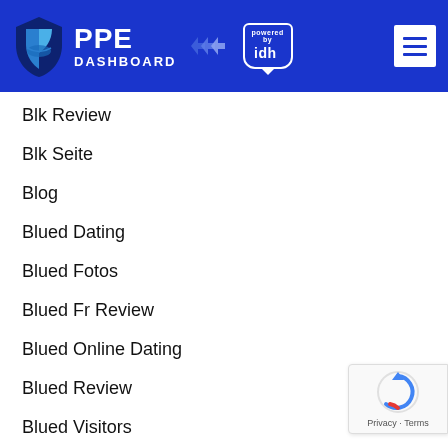[Figure (logo): PPE Dashboard logo with shield icon and 'powered by idh' badge, blue background header with hamburger menu]
Blk Review
Blk Seite
Blog
Blued Dating
Blued Fotos
Blued Fr Review
Blued Online Dating
Blued Review
Blued Visitors
[Figure (logo): Google reCAPTCHA badge with Privacy and Terms links]